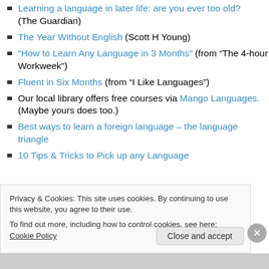Learning a language in later life: are you ever too old? (The Guardian)
The Year Without English (Scott H Young)
“How to Learn Any Language in 3 Months” (from “The 4-hour Workweek”)
Fluent in Six Months (from “I Like Languages”)
Our local library offers free courses via Mango Languages.  (Maybe yours does too.)
Best ways to learn a foreign language – the language triangle
10 Tips & Tricks to Pick up any Language
Privacy & Cookies: This site uses cookies. By continuing to use this website, you agree to their use. To find out more, including how to control cookies, see here: Cookie Policy
Close and accept